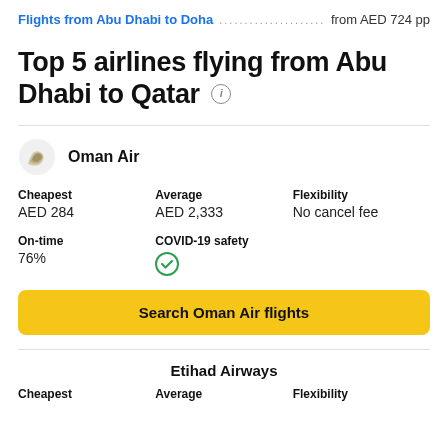Flights from Abu Dhabi to Doha .......................... from AED 724 pp
Top 5 airlines flying from Abu Dhabi to Qatar
Oman Air
| Cheapest | Average | Flexibility |
| --- | --- | --- |
| AED 284 | AED 2,333 | No cancel fee |
| On-time | COVID-19 safety |
| --- | --- |
| 76% | ✓ |
Search Oman Air flights
Etihad Airways
Cheapest    Average    Flexibility